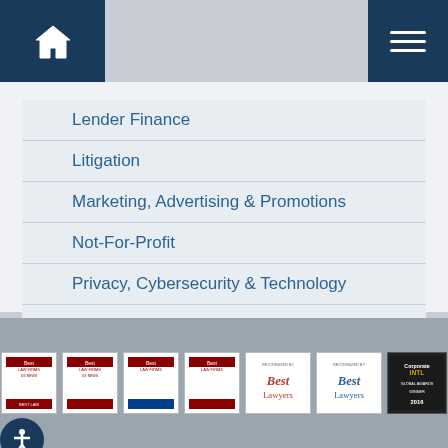Navigation header with home icon and menu icon
Lender Finance
Litigation
Marketing, Advertising & Promotions
Not-For-Profit
Privacy, Cybersecurity & Technology
Real Estate
Secured Lending, Equipment & Transportation Finance
Tax
Trusts & Estates
Award badges: Best Law Firms (multiple years), Best Lawyers (multiple), Corporate INTL Global Awards Winner 2016